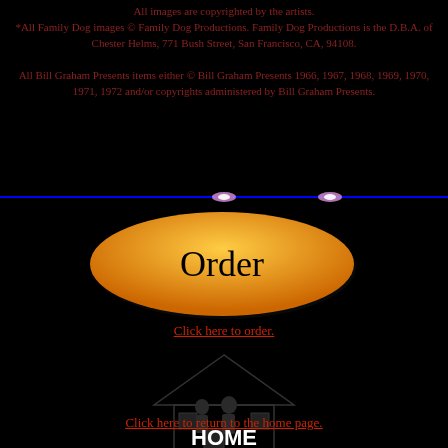All images are copyrighted by the artists. *All Family Dog images © Family Dog Productions. Family Dog Productions is the D.B.A. of Chester Helms, 771 Bush Street, San Francisco, CA, 94108.
All Bill Graham Presents items either © Bill Graham Presents 1966, 1967, 1968, 1969, 1970, 1971, 1972 and/or copyrights administered by Bill Graham Presents.
[Figure (other): Blue horizontal divider line with two small glowing pink/white oval decorations]
[Figure (other): Orange oval button with black text 'Order']
Click here to order.
[Figure (illustration): Dark ghostly illustration of a building with HOME text overlay]
Click here to return to the home page.